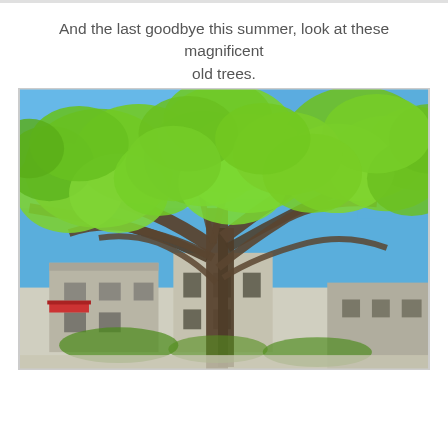And the last goodbye this summer, look at these magnificent old trees.
[Figure (photo): Photograph of large old trees with bright green foliage against a blue sky, with stone buildings visible below the canopy.]